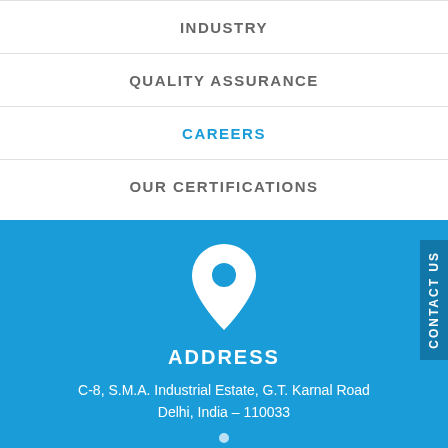INDUSTRY
QUALITY ASSURANCE
CAREERS
OUR CERTIFICATIONS
[Figure (illustration): White map pin / location marker icon on blue background]
ADDRESS
C-8, S.M.A. Industrial Estate, G.T. Karnal Road
Delhi, India – 110033